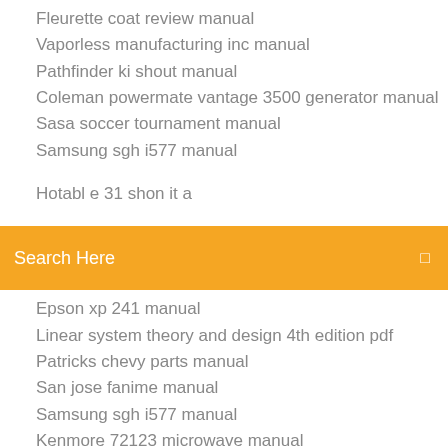Fleurette coat review manual
Vaporless manufacturing inc manual
Pathfinder ki shout manual
Coleman powermate vantage 3500 generator manual
Sasa soccer tournament manual
Samsung sgh i577 manual
[Figure (screenshot): Orange search bar with text 'Search Here' and a search icon on the right]
Epson xp 241 manual
Linear system theory and design 4th edition pdf
Patricks chevy parts manual
San jose fanime manual
Samsung sgh i577 manual
Kenmore 72123 microwave manual
Sage daceasy 2015 manual
2004 kubota rtv 900 specs
Vizio d55u d1 manual
Patricks chevy parts manual